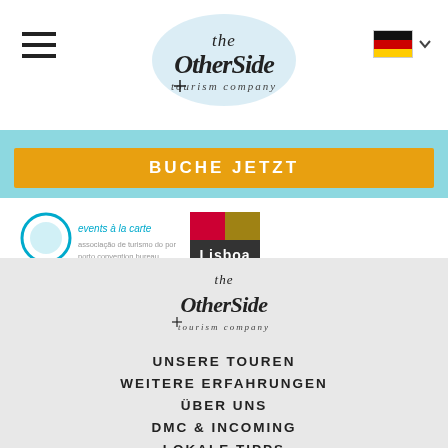[Figure (logo): The OtherSide tourism company logo at the top center of the page]
[Figure (logo): German flag with dropdown arrow in top right corner]
BUCHE JETZT
[Figure (logo): Porto events a la carte / associação de turismo do porto / porto convention bureau logo]
[Figure (logo): Lisboa logo with colorful blocks]
[Figure (logo): The OtherSide tourism company logo in footer]
UNSERE TOUREN
WEITERE ERFAHRUNGEN
ÜBER UNS
DMC & INCOMING
LOKALE TIPPS